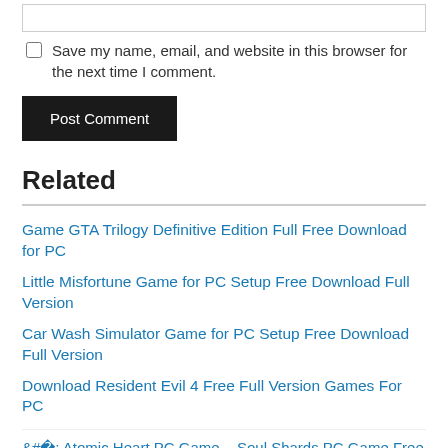Save my name, email, and website in this browser for the next time I comment.
Post Comment
Related
Game GTA Trilogy Definitive Edition Full Free Download for PC
Little Misfortune Game for PC Setup Free Download Full Version
Car Wash Simulator Game for PC Setup Free Download Full Version
Download Resident Evil 4 Free Full Version Games For PC
‹ Atomic Heart PC Game Free Download
Soul Shards PC Game Free Download ›